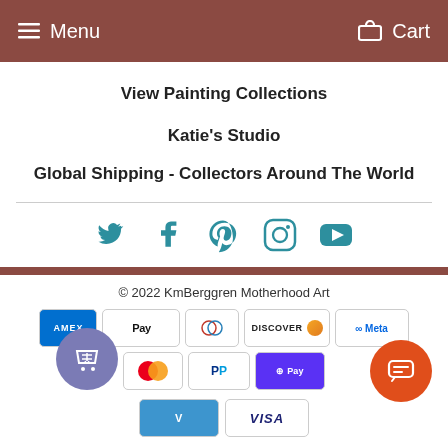Menu  Cart
View Painting Collections
Katie's Studio
Global Shipping - Collectors Around The World
[Figure (infographic): Social media icons row: Twitter, Facebook, Pinterest, Instagram, YouTube in teal color]
© 2022 KmBerggren Motherhood Art
[Figure (infographic): Payment method badges: Amex, Apple Pay, Diners Club, Discover, Meta Pay, Mastercard, PayPal, Shop Pay, Venmo, Visa]